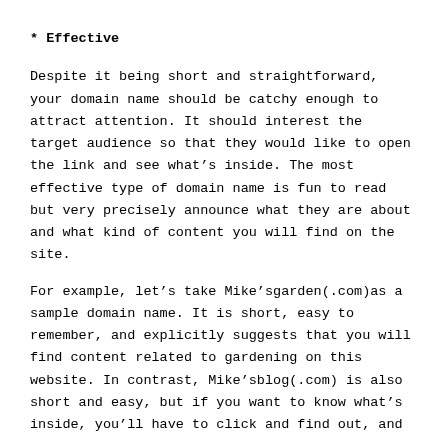* Effective
Despite it being short and straightforward, your domain name should be catchy enough to attract attention. It should interest the target audience so that they would like to open the link and see what’s inside. The most effective type of domain name is fun to read but very precisely announce what they are about and what kind of content you will find on the site.
For example, let’s take Mike’sgarden(.com)as a sample domain name. It is short, easy to remember, and explicitly suggests that you will find content related to gardening on this website. In contrast, Mike’sblog(.com) is also short and easy, but if you want to know what’s inside, you’ll have to click and find out, and